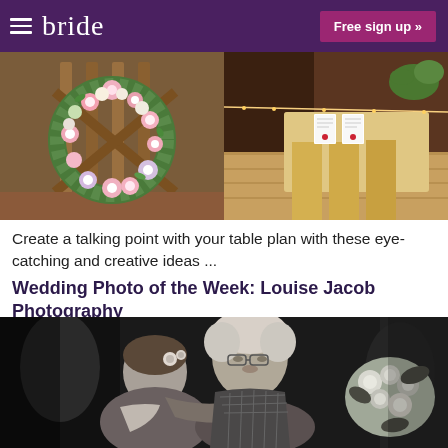bride  Free sign up »
[Figure (photo): Floral heart wreath arrangement with pink and white flowers and greenery on a wooden easel]
[Figure (photo): Wedding table setting with place cards, menu cards, and yellow/gold fabric on a wooden floor]
Create a talking point with your table plan with these eye-catching and creative ideas ...
Wedding Photo of the Week: Louise Jacob Photography
[Figure (photo): Black and white wedding photo of a bride being hugged by an elderly woman, bride holding flowers]